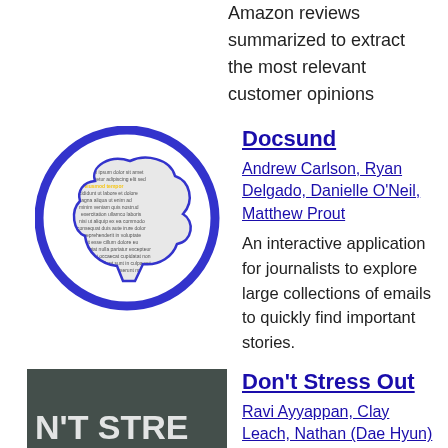Amazon reviews summarized to extract the most relevant customer opinions
[Figure (logo): Docsund logo: a blue circle containing a silhouette of a dog's head made of text/document lines]
Docsund
Andrew Carlson, Ryan Delgado, Danielle O'Neil, Matthew Prout
An interactive application for journalists to explore large collections of emails to quickly find important stories.
[Figure (photo): Thumbnail for Don't Stress Out showing text 'N'T STRE OUT' on a blurred dark background with a cyan button]
Don't Stress Out
Ravi Ayyappan, Clay Leach, Nathan (Dae Hyun) Nam
Real-time Stress Detection
[Figure (logo): Gentlify logo: dark teal background with white text 'gentlify' where the letter l is green]
Gentlify